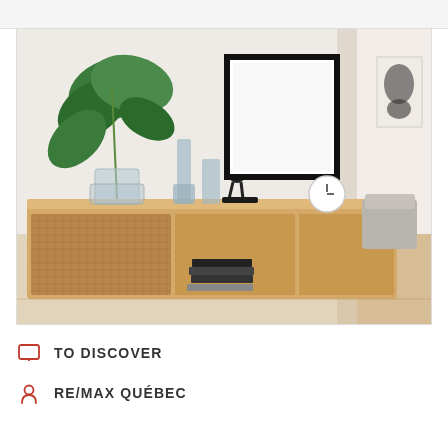[Figure (photo): Interior room photo showing a modern Scandinavian-style sideboard with tropical plant in glass vase, glass candleholders, black metal crane sculpture, small round clock, a blank black-framed picture on the white wall, and a glimpse of a living room with grey sofa and herringbone floor in background.]
TO DISCOVER
RE/MAX QUÉBEC